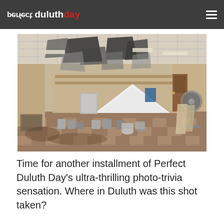perfect duluthday
[Figure (photo): Interior of a damaged commercial space showing a dropped ceiling with multiple tiles fallen or damaged, black marks on the ceiling, a bare concrete floor with checkered tile pattern, various equipment and containers on the floor, a large white triangular object in the center, a standing fan on the right, and clutter along the walls.]
Time for another installment of Perfect Duluth Day's ultra-thrilling photo-trivia sensation. Where in Duluth was this shot taken?